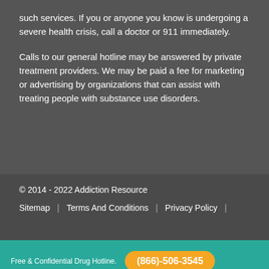such services. If you or anyone you know is undergoing a severe health crisis, call a doctor or 911 immediately.
Calls to our general hotline may be answered by private treatment providers. We may be paid a fee for marketing or advertising by organizations that can assist with treating people with substance use disorders.
© 2014 - 2022 Addiction Resource
Sitemap | Terms And Conditions | Privacy Policy |
Table of Contents
Free & Confidential Drug Hotline.  (866)-506-3545